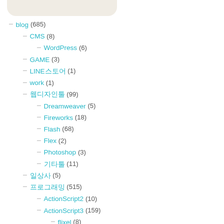[Figure (other): Rounded top box / navigation widget background]
blog (685)
CMS (8)
WordPress (6)
GAME (3)
LINE스토어 (1)
work (1)
웹디자인툴 (99)
Dreamweaver (5)
Fireworks (18)
Flash (68)
Flex (2)
Photoshop (3)
기타툴 (11)
일상사 (5)
프로그래밍 (515)
ActionScript2 (10)
ActionScript3 (159)
flixel (8)
플래시게임만들기 (20)
Android (16)
AWS (2)
C / C++ (5)
iOS (182)
JavaScript (123)
PHP (2)